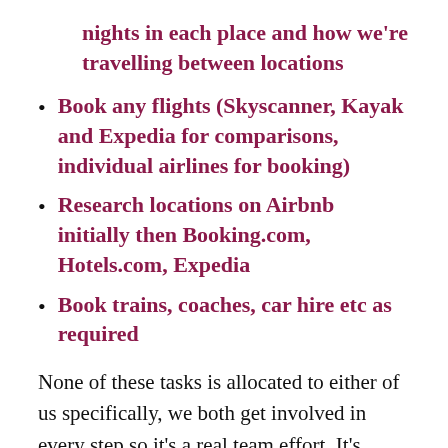nights in each place and how we're travelling between locations
Book any flights (Skyscanner, Kayak and Expedia for comparisons, individual airlines for booking)
Research locations on Airbnb initially then Booking.com, Hotels.com, Expedia
Book trains, coaches, car hire etc as required
None of these tasks is allocated to either of us specifically, we both get involved in every step so it's a real team effort. It's strange how the